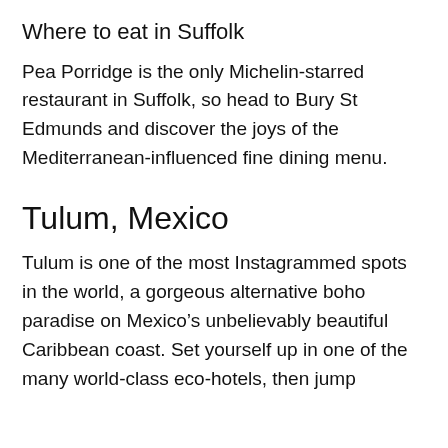Where to eat in Suffolk
Pea Porridge is the only Michelin-starred restaurant in Suffolk, so head to Bury St Edmunds and discover the joys of the Mediterranean-influenced fine dining menu.
Tulum, Mexico
Tulum is one of the most Instagrammed spots in the world, a gorgeous alternative boho paradise on Mexico’s unbelievably beautiful Caribbean coast. Set yourself up in one of the many world-class eco-hotels, then jump